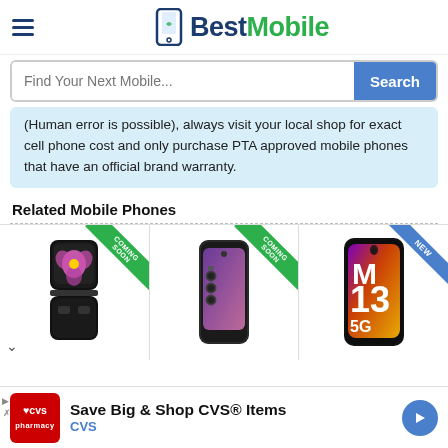BestMobile
(Human error is possible), always visit your local shop for exact cell phone cost and only purchase PTA approved mobile phones that have an official brand warranty.
Related Mobile Phones
[Figure (photo): Three mobile phone product cards side by side: Samsung Galaxy Z Flip (COMING SOON ribbon), a dark smartphone (COMING SOON ribbon), and Samsung Galaxy M13 5G (NEW ribbon)]
[Figure (infographic): CVS Pharmacy advertisement banner: Save Big & Shop CVS® Items, CVS]